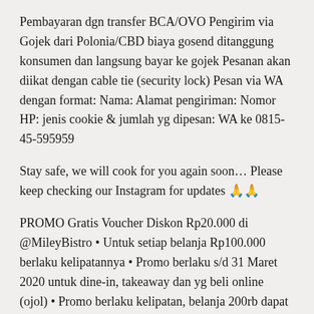Pembayaran dgn transfer BCA/OVO Pengirim via Gojek dari Polonia/CBD biaya gosend ditanggung konsumen dan langsung bayar ke gojek Pesanan akan diikat dengan cable tie (security lock) Pesan via WA dengan format: Nama: Alamat pengiriman: Nomor HP: jenis cookie & jumlah yg dipesan: WA ke 0815-45-595959
Stay safe, we will cook for you again soon… Please keep checking our Instagram for updates 🙏🙏
PROMO Gratis Voucher Diskon Rp20.000 di @MileyBistro • Untuk setiap belanja Rp100.000 berlaku kelipatannya • Promo berlaku s/d 31 Maret 2020 untuk dine-in, takeaway dan yg beli online (ojol) • Promo berlaku kelipatan, belanja 200rb dapat 2 voucher dst… • Voucher bisa digunakan untuk transaksi berikutnya di outlet dan akan mendapatkan lagi voucher selama promo berlangsung Voucher bisa digunakan di salah satu outlet: • Miley Bistro @MileyBistro • Kinley Thai Bistro @KinleyBistro • Kaleo Bistro @KaleoBistro Voucher berlaku s/d 31 Des 2020 Ayo transaksi sekarang...